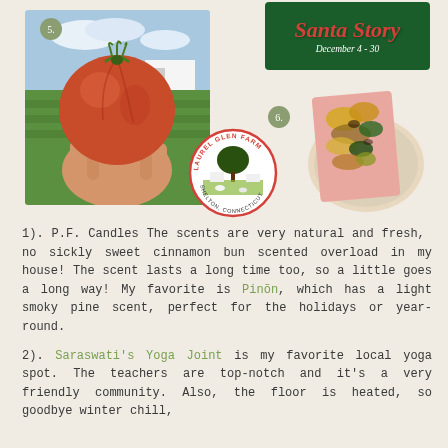[Figure (photo): Photo of a hand holding a large heirloom tomato with a farm field in the background, numbered 5]
[Figure (logo): Circular Laurel Glen Farm logo with a tree and farm scene, Shelton Connecticut]
[Figure (photo): Green banner sign reading Santa Story December 4-30]
[Figure (photo): Photo of a food dish on a plate, numbered 6]
1). P.F. Candles The scents are very natural and fresh, no sickly sweet cinnamon bun scented overload in my house! The scent lasts a long time too, so a little goes a long way! My favorite is Pinõn, which has a light smoky pine scent, perfect for the holidays or year-round.
2). Saraswati's Yoga Joint is my favorite local yoga spot. The teachers are top-notch and it's a very friendly community. Also, the floor is heated, so goodbye winter chill,